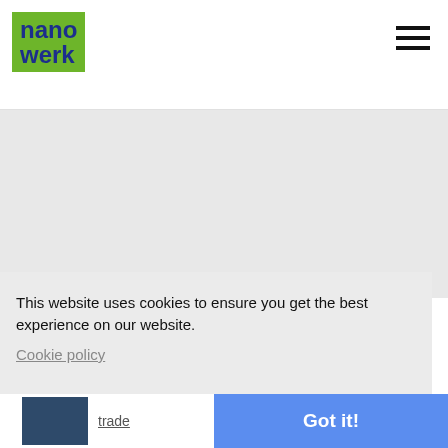[Figure (logo): Nanowerk logo: blue bold text 'nano' and 'werk' on a green background rectangle]
[Figure (other): Hamburger menu icon with three horizontal black lines]
3D-Printing & Gadget News »
This website uses cookies to ensure you get the best experience on our website.
Cookie policy
Got it!
trade